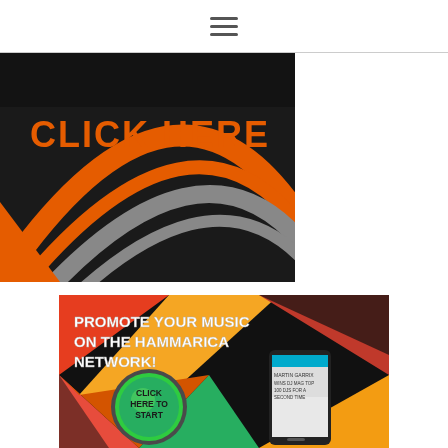Navigation menu
[Figure (illustration): Dark advertisement banner with orange and gray curved stripes and text 'CLICK HERE' in orange bold letters on black background]
[Figure (illustration): Colorful advertisement for Hammarica Network with text 'PROMOTE YOUR MUSIC ON THE HAMMARICA NETWORK!' and a green circular 'CLICK HERE TO START' button, showing a smartphone displaying Martin Garrix news]